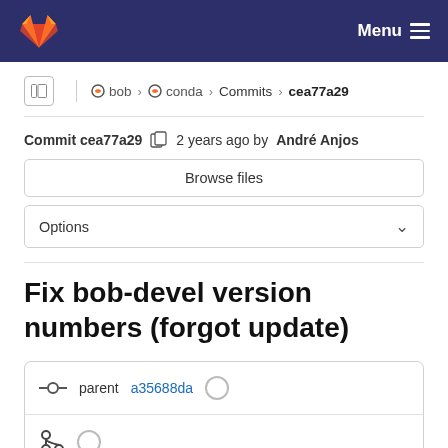Menu
bob › conda › Commits › cea77a29
Commit cea77a29  2 years ago by André Anjos
Browse files
Options
Fix bob-devel version numbers (forgot update)
parent a35688da